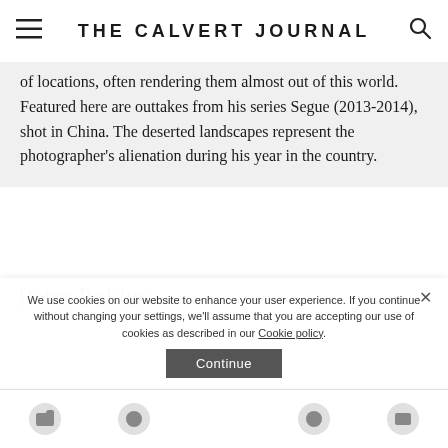THE CALVERT JOURNAL
of locations, often rendering them almost out of this world. Featured here are outtakes from his series Segue (2013-2014), shot in China. The deserted landscapes represent the photographer's alienation during his year in the country.
Peter Puklus
[Figure (photo): Partial view of a rock or stone sculpture on a light teal/cyan background, cropped at the right edge of the page.]
We use cookies on our website to enhance your user experience. If you continue without changing your settings, we'll assume that you are accepting our use of cookies as described in our Cookie policy.
Continue